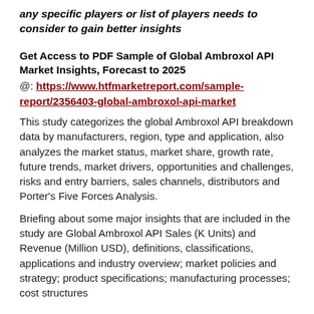any specific players or list of players needs to consider to gain better insights
Get Access to PDF Sample of Global Ambroxol API Market Insights, Forecast to 2025
@: https://www.htfmarketreport.com/sample-report/2356403-global-ambroxol-api-market
This study categorizes the global Ambroxol API breakdown data by manufacturers, region, type and application, also analyzes the market status, market share, growth rate, future trends, market drivers, opportunities and challenges, risks and entry barriers, sales channels, distributors and Porter's Five Forces Analysis.
Briefing about some major insights that are included in the study are Global Ambroxol API Sales (K Units) and Revenue (Million USD), definitions, classifications, applications and industry overview; market policies and strategy; product specifications; manufacturing processes; cost structures